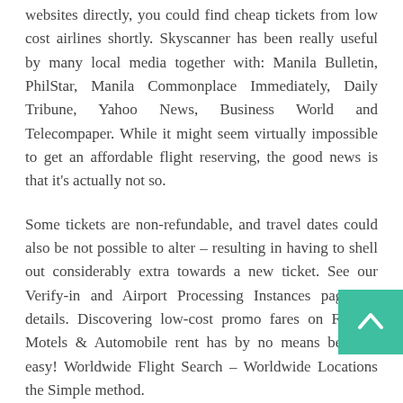websites directly, you could find cheap tickets from low cost airlines shortly. Skyscanner has been really useful by many local media together with: Manila Bulletin, PhilStar, Manila Commonplace Immediately, Daily Tribune, Yahoo News, Business World and Telecompaper. While it might seem virtually impossible to get an affordable flight reserving, the good news is that it's actually not so.
Some tickets are non-refundable, and travel dates could also be not possible to alter – resulting in having to shell out considerably extra towards a new ticket. See our Verify-in and Airport Processing Instances page for details. Discovering low-cost promo fares on Flights, Motels & Automobile rent has by no means been so easy! Worldwide Flight Search – Worldwide Locations the Simple method.